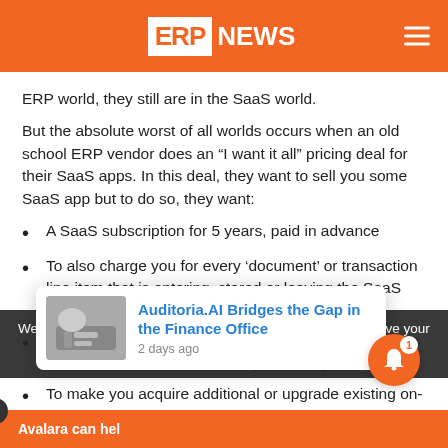ERPNEWS
ERP world, they still are in the SaaS world.
But the absolute worst of all worlds occurs when an old school ERP vendor does an “I want it all” pricing deal for their SaaS apps. In this deal, they want to sell you some SaaS app but to do so, they want:
A SaaS subscription for 5 years, paid in advance
To also charge you for every ‘document’ or transaction line item that is entering, stored or leaving the SaaS app
Renewal pricing set at ‘then-market’ pricing or at terms that vastly exceed cost of living or GDP growth rates
To make you acquire additional or upgrade existing on-premises modules that are needed to ‘enable the full capabilities of and release
We anonymously measure your use of this website to improve your experience on our website. Click accept to a
[Figure (other): Auditoria.AI article thumbnail showing hands on keyboard]
Auditoria.AI Bridges the Gap in the Finance Office
2 days ago
Avalara can hel…